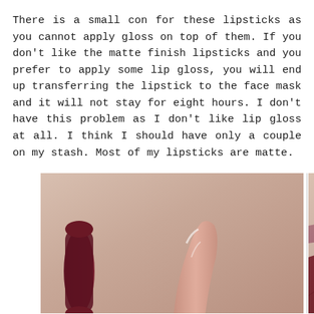There is a small con for these lipsticks as you cannot apply gloss on top of them. If you don't like the matte finish lipsticks and you prefer to apply some lip gloss, you will end up transferring the lipstick to the face mask and it will not stay for eight hours. I don't have this problem as I don't like lip gloss at all. I think I should have only a couple on my stash. Most of my lipsticks are matte.
[Figure (photo): Two side-by-side photos of lipstick swatches on skin. Left photo shows a dark red/burgundy glossy lipstick swatch on the left side and a sheer glossy nude/pink swatch on the right side of the same arm. Right photo shows two matte lipstick swatches — a deep red/burgundy and a lighter mauve/pink — applied in broad strokes across the wrist/arm.]